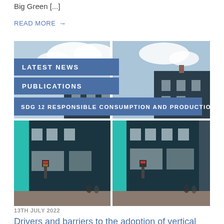Big Green [...]
READ MORE →
[Figure (photo): Two side-by-side photos of a dark teal/black building on a street, with a blue sky above. Overlaid with category labels: LATEST NEWS, PUBLICATIONS, SDG 12 RESPONSIBLE CONSUMPTION AND PRODUCTION.]
13TH JULY 2022
Drivers and barriers to the adoption of vertical extension: Charles Gillott paper